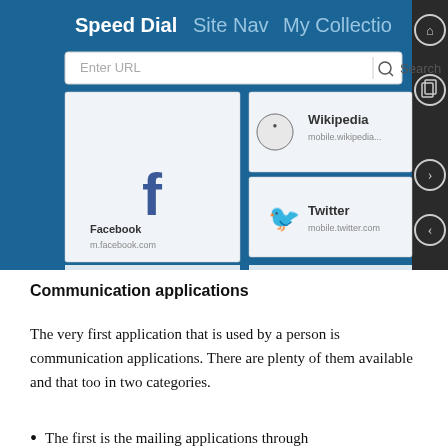[Figure (screenshot): Screenshot of a mobile browser Speed Dial page showing tabs: Speed Dial, Site Nav, My Collection. Contains a URL bar with 'Enter URL' and 'Search'. Shows tiles: Facebook (m.facebook.com) with Facebook 'f' logo, Wikipedia (mobile.wikipedia...) with globe icon, Twitter (mobile.twitter.com) with bird icon. Right sidebar has navigation icons: home, tab, forward, back.]
Communication applications
The very first application that is used by a person is communication applications. There are plenty of them available and that too in two categories.
The first is the mailing applications through